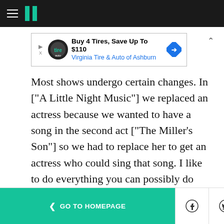HuffPost navigation bar with hamburger menu and logo
[Figure (other): Advertisement banner: Buy 4 Tires, Save Up To $110 — Virginia Tire & Auto of Ashburn]
Most shows undergo certain changes. In ["A Little Night Music"] we replaced an actress because we wanted to have a song in the second act ["The Miller's Son"] so we had to replace her to get an actress who could sing that song. I like to do everything you can possibly do before you go into rehearsal, because once we are in rehearsal or on the stage there will be a problem I didn't anticipate. It's really good to think we got it all
< GO TO HOMEPAGE | Facebook icon | Twitter icon | X